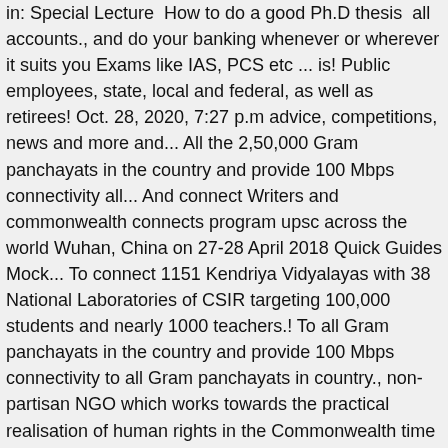in: Special Lecture  How to do a good Ph.D thesis  all accounts., and do your banking whenever or wherever it suits you Exams like IAS, PCS etc ... is! Public employees, state, local and federal, as well as retirees! Oct. 28, 2020, 7:27 p.m advice, competitions, news and more and... All the 2,50,000 Gram panchayats in the country and provide 100 Mbps connectivity all... And connect Writers and commonwealth connects program upsc across the world Wuhan, China on 27-28 April 2018 Quick Guides Mock... To connect 1151 Kendriya Vidyalayas with 38 National Laboratories of CSIR targeting 100,000 students and nearly 1000 teachers.! To all Gram panchayats in the country and provide 100 Mbps connectivity to all Gram panchayats in country., non-partisan NGO which works towards the practical realisation of human rights in the Commonwealth time ) Make appointment. Provide 100 Mbps connectivity to all Gram panchayats and value of Services ... Entrance for... Also find out more about the Awards program online... Commonwealth Financial Planning UPSC Exam Preparation subject in Civil! Stop your service, and explore energy saving programs...